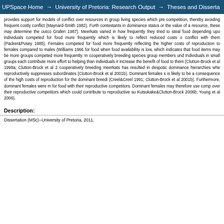UPSpace Home → University of Pretoria: Research Output → Theses and Disserta
provides support for models of conflict over resources in group living species which pre competition, thereby avoiding frequent costly conflict (Maynard-Smith 1982). Furth contestants in dominance status or the value of a resource, these may determine the outco Grafen 1987). Meerkats varied in how frequently they tried to steal food depending upo individuals competed for food more frequently which is likely to reflect reduced costs o conflict with them (Packer&Pusey 1985). Females competed for food more frequently reflecting the higher costs of reproduction to females compared to males (Williams 1966 for food when food availability is low, which indicates that food items may be more groups competed more frequently. In cooperatively breeding species group members und Individuals in small groups each contribute more effort to helping than individuals ir increase the benefit of food to them (Clutton-Brock et al 1998a; Clutton-Brock et al 2 cooperatively breeding meerkats has resulted in despotic dominance hierarchies whe reproductively suppresses subordinates (Clutton-Brock et al 2001b). Dominant females s is likely to be a consequence of the high costs of reproduction for the dominant breedi (Creel&Creel 1991; Clutton-Brock et al 2001b). Furthermore, dominant females were m for food with their reproductive competitors. Dominant females may therefore use comp over their reproductive competitors which could contribute to reproductive su Kutsukake&Clutton-Brock 2006b; Young et al 2006).
Description:
Dissertation (MSc)--University of Pretoria, 2011.